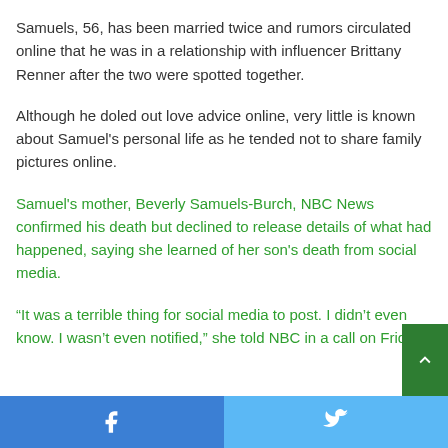Samuels, 56, has been married twice and rumors circulated online that he was in a relationship with influencer Brittany Renner after the two were spotted together.
Although he doled out love advice online, very little is known about Samuel's personal life as he tended not to share family pictures online.
Samuel's mother, Beverly Samuels-Burch, NBC News confirmed his death but declined to release details of what had happened, saying she learned of her son's death from social media.
“It was a terrible thing for social media to post. I didn’t even know. I wasn’t even notified,” she told NBC in a call on Frida